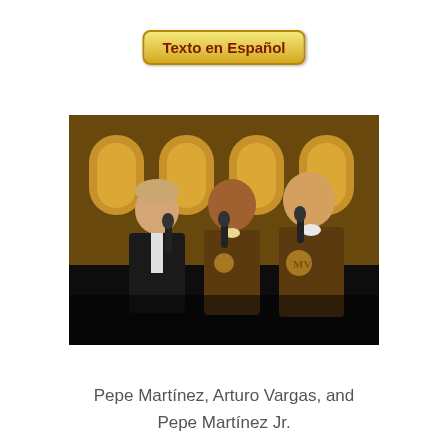Texto en Español
[Figure (photo): Three men singing into microphones on stage. The man on the left wears a black suit, the two on the right wear brown mariachi-style jackets with embroidered logos. Background shows an ornate venue with arched windows lit in warm golden light.]
Pepe Martínez, Arturo Vargas, and Pepe Martínez Jr.